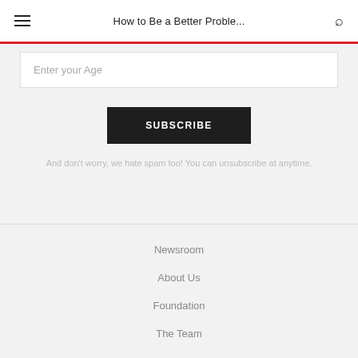How to Be a Better Proble...
Enter your Age
SUBSCRIBE
And don't worry, we hate spam too! You can unsubscribe at anytime.
Newsroom
About Us
Foundation
The Team